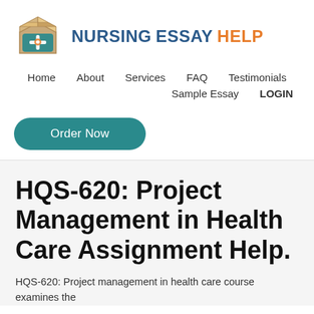[Figure (logo): Nursing Essay Help logo with a medical bag icon and text 'NURSING ESSAY HELP' where HELP is in orange]
Home   About   Services   FAQ   Testimonials   Sample Essay   LOGIN
[Figure (other): Order Now button in teal/green rounded rectangle]
HQS-620: Project Management in Health Care Assignment Help.
HQS-620: Project management in health care course examines the